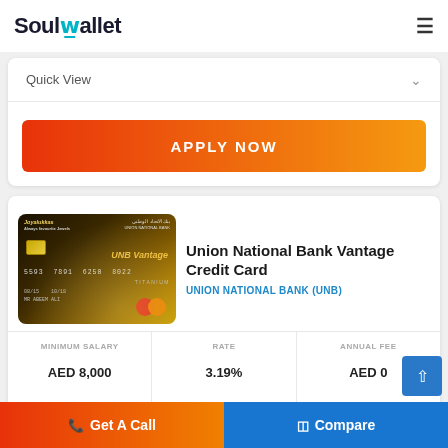SoulWallet
Quick View
APPLY NOW
[Figure (photo): Union National Bank Vantage Credit Card - gold/black titanium credit card with Joyalukkas branding, UNB Vantage name, card number 5593 7891 6250 8022, expiry 08/15 - 10/18, MR ABEEM ALI, Mastercard logo]
Union National Bank Vantage Credit Card
UNION NATIONAL BANK (UNB)
| MINIMUM SALARY | RATE | ANNUAL FEE |
| --- | --- | --- |
| AED 8,000 | 3.19% | AED 0 |
Get A Call
Compare